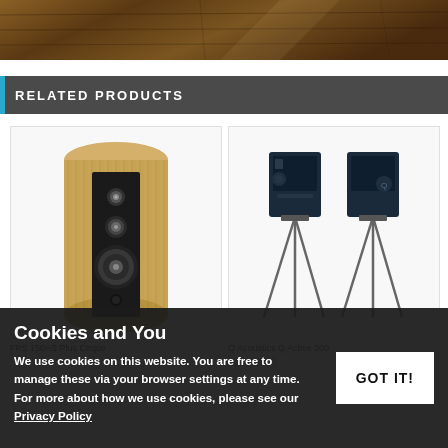[Figure (photo): Top portion of a wooden floor with warm brown tones, partial view]
RELATED PRODUCTS
[Figure (photo): Tall cylindrical floor-standing speaker with wood veneer finish and black front panel]
[Figure (photo): Pair of small black bookshelf speakers on tall tripod stands]
FPS 150AS Plus Cirque
Q Acoustics Q Active 200
£1,499.00
Cookies and You
We use cookies on this website. You are free to manage these via your browser settings at any time. For more about how we use cookies, please see our Privacy Policy